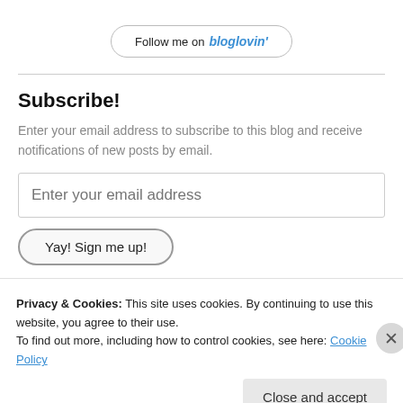[Figure (other): Follow me on bloglovin button - rounded rectangle button with text 'Follow me on bloglovin']
Subscribe!
Enter your email address to subscribe to this blog and receive notifications of new posts by email.
[Figure (other): Email input field with placeholder text 'Enter your email address']
[Figure (other): Button labeled 'Yay! Sign me up!']
Privacy & Cookies: This site uses cookies. By continuing to use this website, you agree to their use.
To find out more, including how to control cookies, see here: Cookie Policy
[Figure (other): Close and accept button]